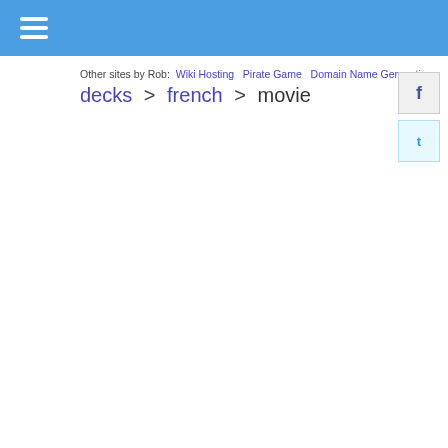☰ (hamburger menu)
Other sites by Rob: Wiki Hosting   Pirate Game   Domain Name Generation
decks > french > movie
[Figure (logo): Facebook logo icon button]
[Figure (logo): Twitter logo icon button]